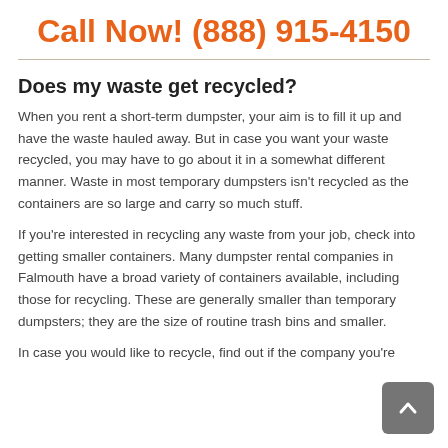Call Now! (888) 915-4150
Does my waste get recycled?
When you rent a short-term dumpster, your aim is to fill it up and have the waste hauled away. But in case you want your waste recycled, you may have to go about it in a somewhat different manner. Waste in most temporary dumpsters isn't recycled as the containers are so large and carry so much stuff.
If you're interested in recycling any waste from your job, check into getting smaller containers. Many dumpster rental companies in Falmouth have a broad variety of containers available, including those for recycling. These are generally smaller than temporary dumpsters; they are the size of routine trash bins and smaller.
In case you would like to recycle, find out if the company you're